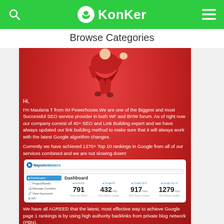KonKer
Browse Categories
[Figure (screenshot): Red promotional card showing a superhero character, text about IM Powerhouse SEO services, a dashboard screenshot showing stats (791, 432, 917, 1279), and additional text about PBN backlinks.]
Hi,
I'm Maulana T from IM Powerhouse.We are one of the Biggest and most Successful SEO service provider in both WF and BHW forum. As of right now our company consist of 40+ SEO and Link Building expert and we have always updated our link building method to make sure that it will always work with the latest Google algorithm changes.
Currently we have achieved 1270+ Top 10 rankings in Google from all of our services combined and we are not slowing down!
[Figure (screenshot): Dashboard screenshot showing MajesticMastery interface with stats: 791 (keywords last month), 432/day (most recent update), 917/day (most recent update), 1279/day (most recent update)]
We have all AGREED that the latest, most effective way to achieve Google page 1 rankings is by using high authority backlinks from private blog network (PBN).
But NOT all networks are created equally, with this service you will only be getting links from the highest quality PBN.